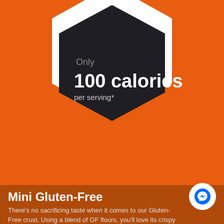[Figure (infographic): Dark hexagon badge on orange background displaying calorie information]
Only
100 calories
per serving*
Mini Gluten-Free
There's no sacrificing taste when it comes to our Glute-Free crust. Using a blend of GF flours, you'll love its crispy texture. Comes in a pack of three (3) 10" crusts.